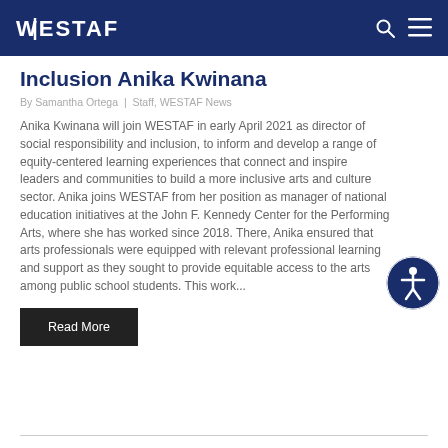WESTAF
Inclusion Anika Kwinana
By Samantha Ortega  |  Staff, WESTAF News
Anika Kwinana will join WESTAF in early April 2021 as director of social responsibility and inclusion, to inform and develop a range of equity-centered learning experiences that connect and inspire leaders and communities to build a more inclusive arts and culture sector. Anika joins WESTAF from her position as manager of national education initiatives at the John F. Kennedy Center for the Performing Arts, where she has worked since 2018. There, Anika ensured that arts professionals were equipped with relevant professional learning and support as they sought to provide equitable access to the arts among public school students. This work...
Read More